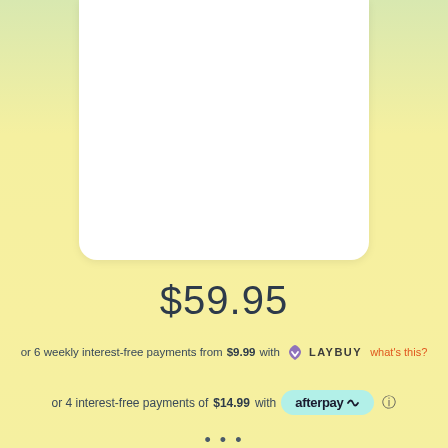[Figure (other): White product image placeholder area with rounded bottom corners]
$59.95
or 6 weekly interest-free payments from $9.99 with LAYBUY what's this?
or 4 interest-free payments of $14.99 with afterpay